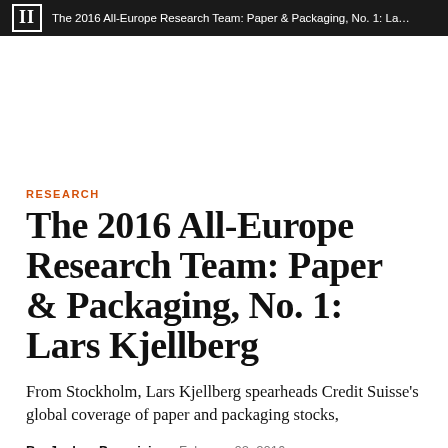II  The 2016 All-Europe Research Team: Paper & Packaging, No. 1: Lars Kjell...
RESEARCH
The 2016 All-Europe Research Team: Paper & Packaging, No. 1: Lars Kjellberg
From Stockholm, Lars Kjellberg spearheads Credit Suisse's global coverage of paper and packaging stocks,
By  Joshua Pasanisi   February 02, 2016